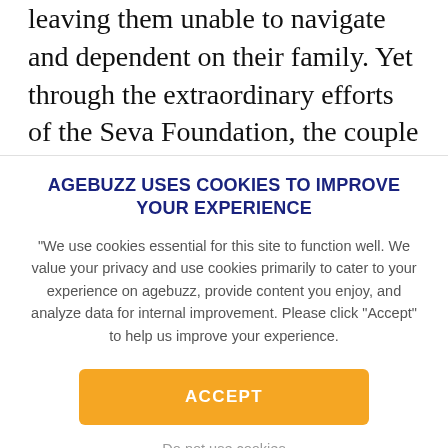leaving them unable to navigate and dependent on their family. Yet through the extraordinary efforts of the Seva Foundation, the couple was offered the opportunity of surgery to restore their
AGEBUZZ USES COOKIES TO IMPROVE YOUR EXPERIENCE
"We use cookies essential for this site to function well. We value your privacy and use cookies primarily to cater to your experience on agebuzz, provide content you enjoy, and analyze data for internal improvement. Please click "Accept" to help us improve your experience.
ACCEPT
Do not use cookies